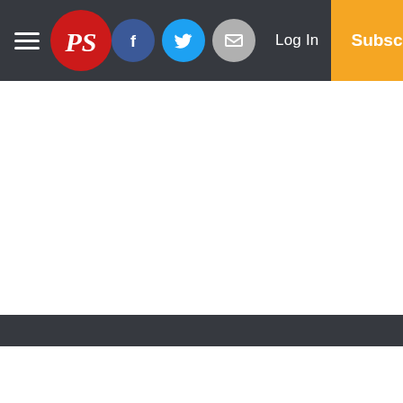PS logo navigation bar with hamburger menu, PS logo, Facebook, Twitter, Email social icons, Log In button, and Subscribe button